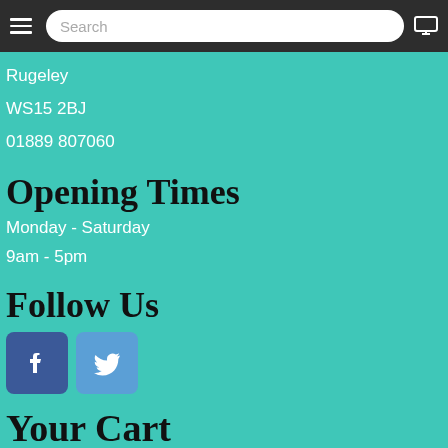Search
Rugeley
WS15 2BJ
01889 807060
Opening Times
Monday - Saturday
9am - 5pm
Follow Us
[Figure (logo): Facebook and Twitter social media icon buttons]
Your Cart